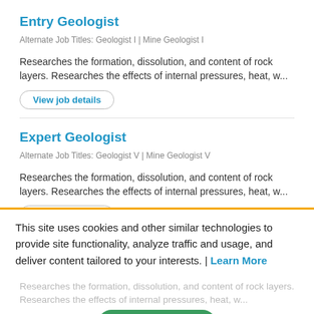Entry Geologist
Alternate Job Titles: Geologist I | Mine Geologist I
Researches the formation, dissolution, and content of rock layers. Researches the effects of internal pressures, heat, w...
View job details
Expert Geologist
Alternate Job Titles: Geologist V | Mine Geologist V
Researches the formation, dissolution, and content of rock layers. Researches the effects of internal pressures, heat, w...
View job details
This site uses cookies and other similar technologies to provide site functionality, analyze traffic and usage, and deliver content tailored to your interests. | Learn More
I Accept